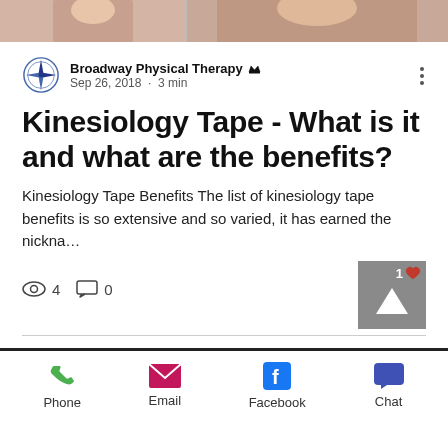[Figure (photo): Top banner with two cropped photos of people on skin-toned background]
Broadway Physical Therapy · Sep 26, 2018 · 3 min
Kinesiology Tape - What is it and what are the benefits?
Kinesiology Tape Benefits The list of kinesiology tape benefits is so extensive and so varied, it has earned the nickna...
4 views · 0 comments · 1 like
Phone  Email  Facebook  Chat